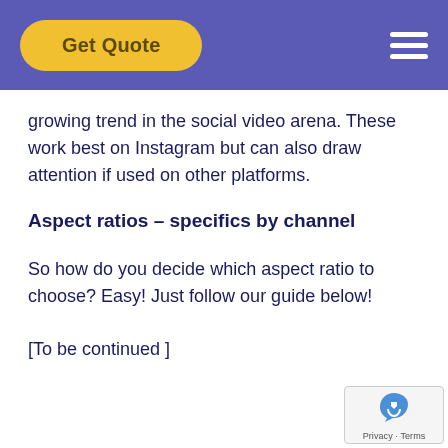Get Quote
growing trend in the social video arena. These work best on Instagram but can also draw attention if used on other platforms.
Aspect ratios – specifics by channel
So how do you decide which aspect ratio to choose? Easy! Just follow our guide below!
[To be continued ]